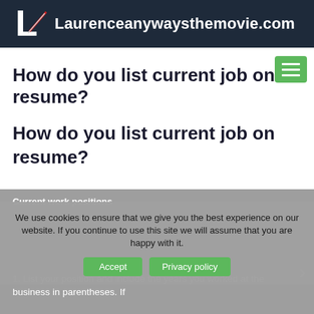Laurenceanywaysthemovie.com
How do you list current job on resume?
How do you list current job on resume?
Current work positions
We use cookies to ensure that we give you the best experience on our website. If you continue to use this site we will assume that you are happy with it.
1. List your position and include the years you worked at the business in parentheses. If